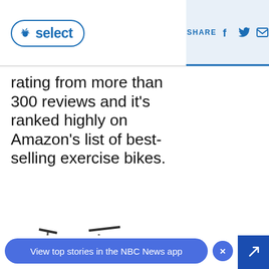NBC Select | SHARE
rating from more than 300 reviews and it's ranked highly on Amazon's list of best-selling exercise bikes.
[Figure (photo): Partial view of an exercise/spin bike in black and silver]
View top stories in the NBC News app